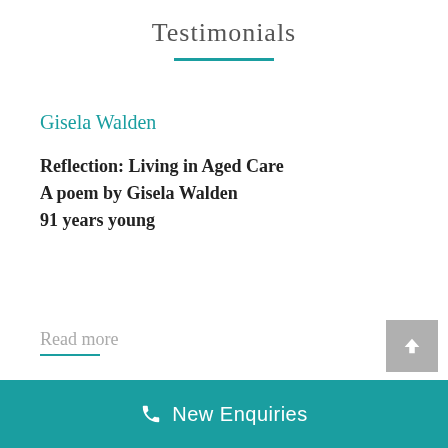Testimonials
Gisela Walden
Reflection: Living in Aged Care
A poem by Gisela Walden
91 years young
Read more
New Enquiries